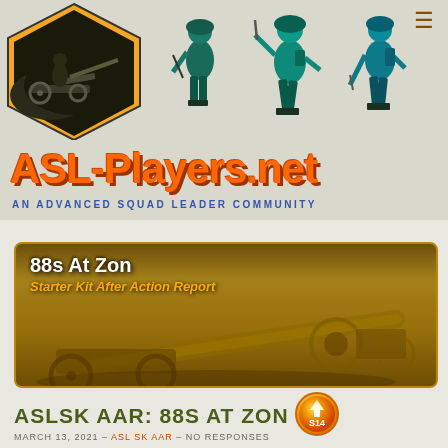[Figure (logo): ASL-Players.net website header with hexagonal logo containing military scene, three soldier silhouettes in teal/blue colors, and large orange ASL-Players.net text]
AN ADVANCED SQUAD LEADER COMMUNITY
[Figure (illustration): Banner card with golden-brown background showing artillery cannon illustration, overlaid with white text '88s At Zon' and orange italic text 'Starter Kit After Action Report']
ASLSK AAR: 88S AT ZON (S14)
MARCH 13, 2021 – ASL SK AAR – NO RESPONSES